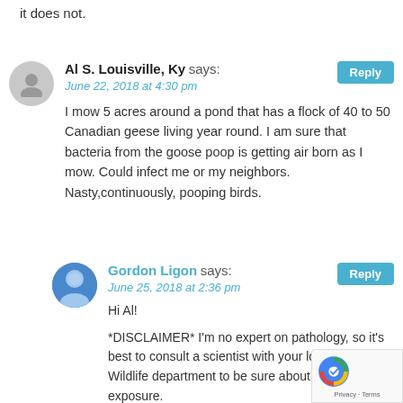it does not.
Al S. Louisville, Ky says:
June 22, 2018 at 4:30 pm
I mow 5 acres around a pond that has a flock of 40 to 50 Canadian geese living year round. I am sure that bacteria from the goose poop is getting air born as I mow. Could infect me or my neighbors. Nasty,continuously, pooping birds.
Gordon Ligon says:
June 25, 2018 at 2:36 pm
Hi Al!
*DISCLAIMER* I'm no expert on pathology, so it's best to consult a scientist with your local DNR or Wildlife department to be sure about your risk exposure.
I think the biggest risk would come during the